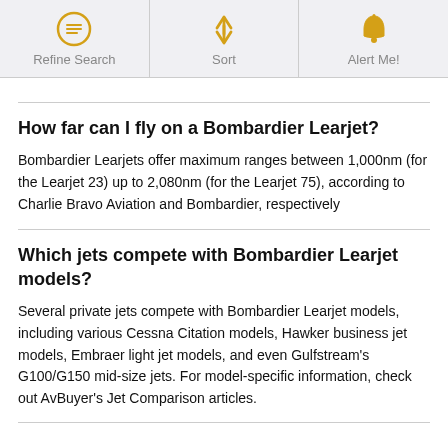[Figure (infographic): Mobile app toolbar with three icon buttons: Refine Search (search/filter icon), Sort (up-down arrows icon), Alert Me! (bell icon), all in golden/amber color on light grey background]
How far can I fly on a Bombardier Learjet?
Bombardier Learjets offer maximum ranges between 1,000nm (for the Learjet 23) up to 2,080nm (for the Learjet 75), according to Charlie Bravo Aviation and Bombardier, respectively
Which jets compete with Bombardier Learjet models?
Several private jets compete with Bombardier Learjet models, including various Cessna Citation models, Hawker business jet models, Embraer light jet models, and even Gulfstream's G100/G150 mid-size jets. For model-specific information, check out AvBuyer's Jet Comparison articles.